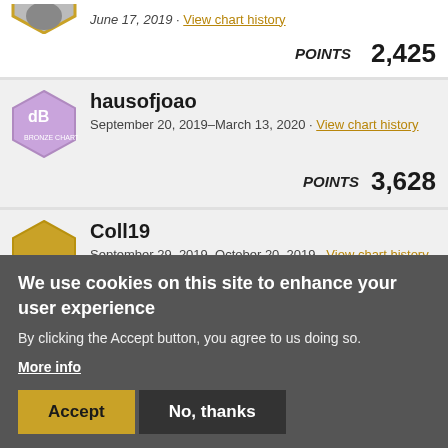June 17, 2019 · View chart history | POINTS 2,425
hausofjoao — September 20, 2019–March 13, 2020 · View chart history | POINTS 3,628
Coll19 — September 29, 2019–October 20, 2019 · View chart history | POINTS 10,206
cremeebrulee
We use cookies on this site to enhance your user experience
By clicking the Accept button, you agree to us doing so.
More info
Accept | No, thanks